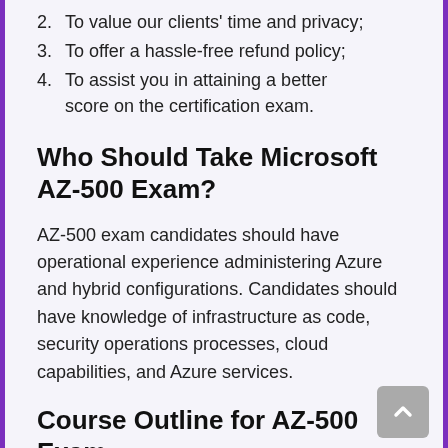2. To value our clients' time and privacy;
3. To offer a hassle-free refund policy;
4. To assist you in attaining a better score on the certification exam.
Who Should Take Microsoft AZ-500 Exam?
AZ-500 exam candidates should have operational experience administering Azure and hybrid configurations. Candidates should have knowledge of infrastructure as code, security operations processes, cloud capabilities, and Azure services.
Course Outline for AZ-500 Exam